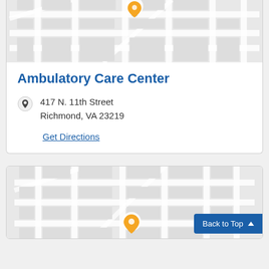[Figure (map): Street map with orange location pin for Ambulatory Care Center]
Ambulatory Care Center
417 N. 11th Street
Richmond, VA 23219
Get Directions
[Figure (map): Street map with orange location pin for second facility]